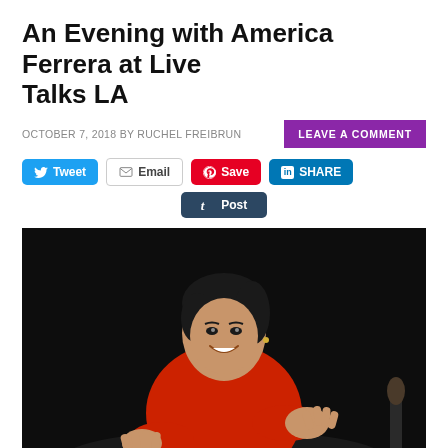An Evening with America Ferrera at Live Talks LA
OCTOBER 7, 2018 BY RUCHEL FREIBRUN
LEAVE A COMMENT
Tweet  Email  Save  SHARE  Post
[Figure (photo): America Ferrera seated on stage at Live Talks LA event, smiling and gesturing with both hands, wearing a red outfit. Dark background. Watermark: popbuff.com]
I am so lucky to be joined with so many different...